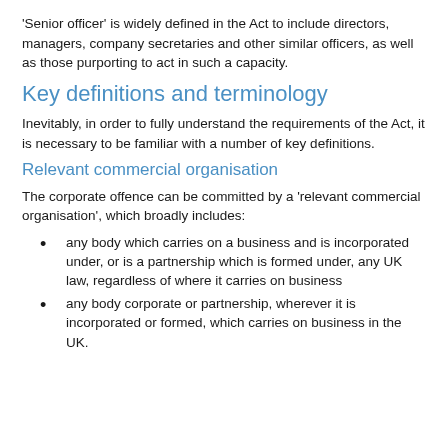'Senior officer' is widely defined in the Act to include directors, managers, company secretaries and other similar officers, as well as those purporting to act in such a capacity.
Key definitions and terminology
Inevitably, in order to fully understand the requirements of the Act, it is necessary to be familiar with a number of key definitions.
Relevant commercial organisation
The corporate offence can be committed by a 'relevant commercial organisation', which broadly includes:
any body which carries on a business and is incorporated under, or is a partnership which is formed under, any UK law, regardless of where it carries on business
any body corporate or partnership, wherever it is incorporated or formed, which carries on business in the UK.